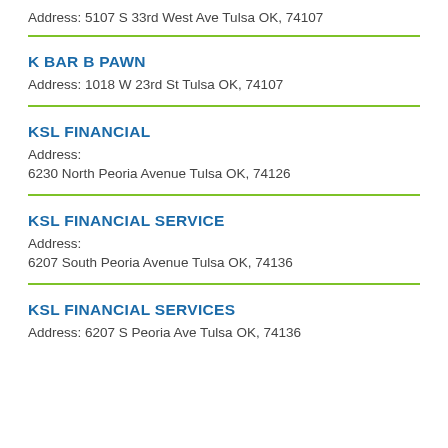Address: 5107 S 33rd West Ave Tulsa OK, 74107
K BAR B PAWN
Address: 1018 W 23rd St Tulsa OK, 74107
KSL FINANCIAL
Address:
6230 North Peoria Avenue Tulsa OK, 74126
KSL FINANCIAL SERVICE
Address:
6207 South Peoria Avenue Tulsa OK, 74136
KSL FINANCIAL SERVICES
Address: 6207 S Peoria Ave Tulsa OK, 74136